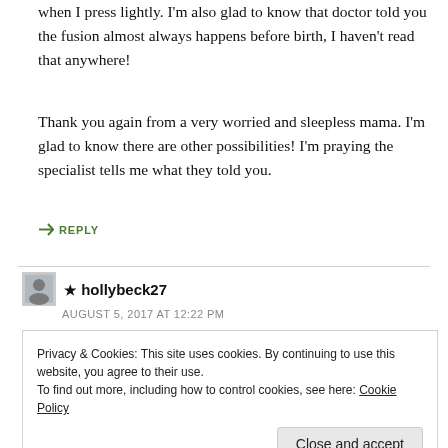when I press lightly. I'm also glad to know that doctor told you the fusion almost always happens before birth, I haven't read that anywhere!
Thank you again from a very worried and sleepless mama. I'm glad to know there are other possibilities! I'm praying the specialist tells me what they told you.
↪ REPLY
[Figure (other): Commenter avatar thumbnail for hollybeck27]
★ hollybeck27
AUGUST 5, 2017 AT 12:22 PM
Privacy & Cookies: This site uses cookies. By continuing to use this website, you agree to their use.
To find out more, including how to control cookies, see here: Cookie Policy
Close and accept